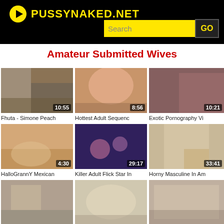PUSSYNAKED.NET
Amateur Submitted Wives
[Figure (screenshot): Video thumbnail 1: duration 10:55]
Fhuta - Simone Peach
[Figure (screenshot): Video thumbnail 2: duration 8:56]
Hottest Adult Sequenc
[Figure (screenshot): Video thumbnail 3: duration 10:21]
Exotic Pornography Vi
[Figure (screenshot): Video thumbnail 4: duration 4:30]
HalloGrannY Mexican
[Figure (screenshot): Video thumbnail 5: duration 29:17]
Killer Adult Flick Star In
[Figure (screenshot): Video thumbnail 6: duration 33:41]
Horny Masculine In Am
[Figure (screenshot): Partial video thumbnail row 7]
[Figure (screenshot): Partial video thumbnail row 8]
[Figure (screenshot): Partial video thumbnail row 9]